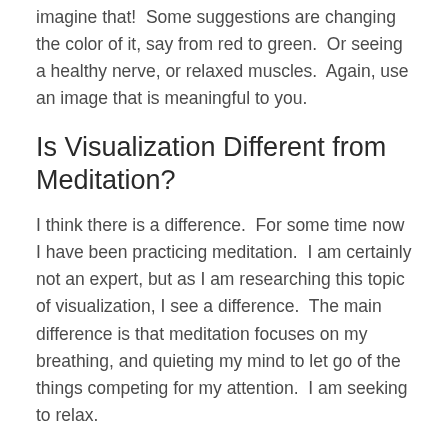imagine that!  Some suggestions are changing the color of it, say from red to green.  Or seeing a healthy nerve, or relaxed muscles.  Again, use an image that is meaningful to you.
Is Visualization Different from Meditation?
I think there is a difference.  For some time now I have been practicing meditation.  I am certainly not an expert, but as I am researching this topic of visualization, I see a difference.  The main difference is that meditation focuses on my breathing, and quieting my mind to let go of the things competing for my attention.  I am seeking to relax.
Visualization is a more focused practice, where I